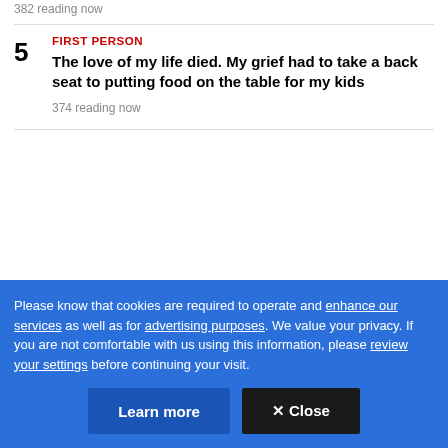382 reading now
FIRST PERSON
The love of my life died. My grief had to take a back seat to putting food on the table for my kids
374 reading now
Please know that cookies are required to operate and enhance our services as well as for advertising purposes. We value your privacy. If you are not comfortable with us using this information, please review your settings before continuing your visit.
Learn more
✕ Close